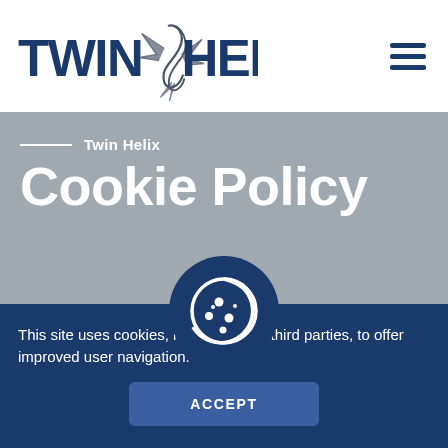[Figure (logo): Twin Helix logo with stylized helix graphic between TWIN and HELIX text in dark blue]
Twin Helix
Cookie Policy
[Figure (illustration): Cookie icon in white on dark blue circular background]
This site uses cookies, including from third parties, to offer improved user navigation.
ACCEPT